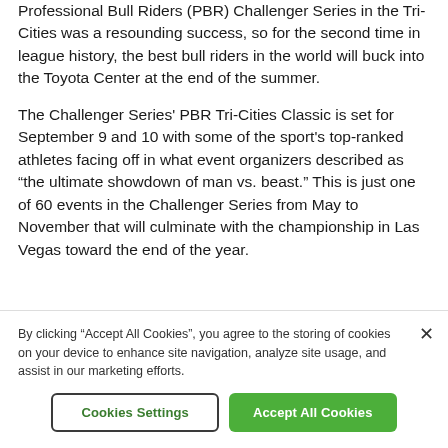Professional Bull Riders (PBR) Challenger Series in the Tri-Cities was a resounding success, so for the second time in league history, the best bull riders in the world will buck into the Toyota Center at the end of the summer.
The Challenger Series' PBR Tri-Cities Classic is set for September 9 and 10 with some of the sport's top-ranked athletes facing off in what event organizers described as “the ultimate showdown of man vs. beast.” This is just one of 60 events in the Challenger Series from May to November that will culminate with the championship in Las Vegas toward the end of the year.
By clicking “Accept All Cookies”, you agree to the storing of cookies on your device to enhance site navigation, analyze site usage, and assist in our marketing efforts.
Cookies Settings
Accept All Cookies